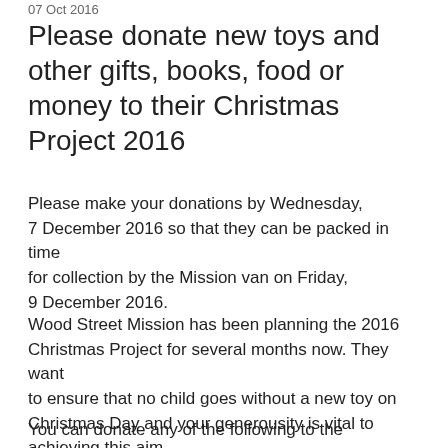07 Oct 2016
Please donate new toys and other gifts, books, food or money to their Christmas Project 2016
Please make your donations by Wednesday, 7 December 2016 so that they can be packed in time for collection by the Mission van on Friday, 9 December 2016.
Wood Street Mission has been planning the 2016 Christmas Project for several months now. They want to ensure that no child goes without a new toy on Christmas Day and your generousity is vital to achieving this aim.
You can donate any of the following to the Christmas Project: